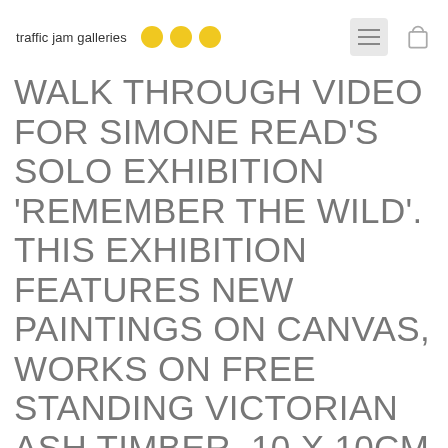traffic jam galleries
WALK THROUGH VIDEO FOR SIMONE READ'S SOLO EXHIBITION 'REMEMBER THE WILD'. THIS EXHIBITION FEATURES NEW PAINTINGS ON CANVAS, WORKS ON FREE STANDING VICTORIAN ASH TIMBER, 10 X 10CM PAINT SWATCHES AND A SELECTION OF FINE ART PRINTS. TO VIEW MORE PLEASE VISIT OUR WEBSITE OR CONTACT JESS AND REBECCA AT THE GALLERY